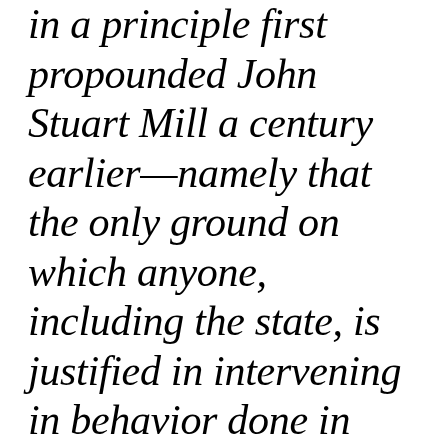in a principle first propounded John Stuart Mill a century earlier—namely that the only ground on which anyone, including the state, is justified in intervening in behavior done in private is the prevention of harm to others.